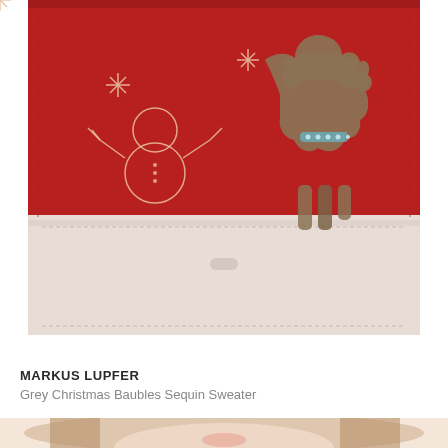[Figure (photo): A red and cream leather wallet/clutch with Christmas-themed embossing: a snowman outline on the left, snowflake stars, and a Westie/Scottie dog silhouette in brown/grey with a sparkly blue collar on the right. The top portion is deep red leather and the bottom flap is pale cream/blush leather with stitching detail.]
MARKUS LUPFER
Grey Christmas Baubles Sequin Sweater
[Figure (photo): Bottom portion of a woman's face showing lips and chin, with long brown hair, wearing what appears to be a grey sweater. Only the lower face and top of shoulders visible.]